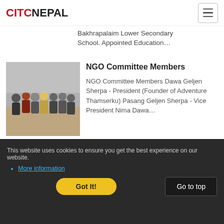CITCNEPAL
Bakhrapalaim Lower Secondary School. Appointed Education...
NGO Committee Members
NGO Committee Members Dawa Geljen Sherpa - President (Founder of Adventure Thamserku) Pasang Geljen Sherpa - Vice President Nima Dawa...
Kate Roberts - Communications Officer
This website uses cookies to ensure you get the best experience on our website.
More information
Got It!
Go to top